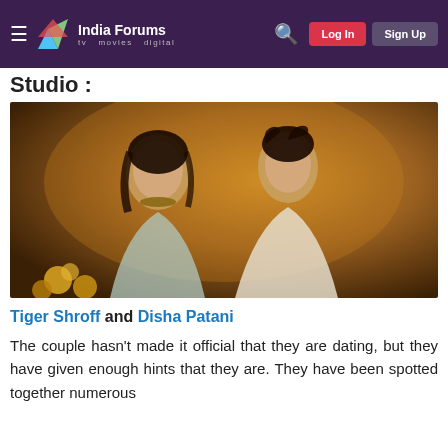India Forums - tv movies digital | Log In | Sign Up
Studio :
[Figure (photo): A couple posing together in traditional Indian attire. The woman wears a light blue embroidered lehenga with heavy jewelry; the man wears a cream-colored sherwani. Warm amber/golden background.]
Tiger Shroff and Disha Patani
The couple hasn't made it official that they are dating, but they have given enough hints that they are. They have been spotted together numerous